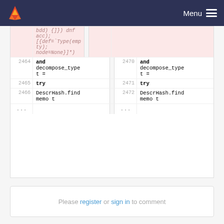Menu
bdd) {]}) dnf acc);
[{def=`Type(empty);
node=None}]*)
| line | code-left | divider | line | code-right |
| --- | --- | --- | --- | --- |
| 2464 | and decompose_type t = |  | 2470 | and decompose_type t = |
| 2465 | try |  | 2471 | try |
| 2466 | DescrHash.find memo t |  | 2472 | DescrHash.find memo t |
| ... | ... |  | ... | ... |
Please register or sign in to comment